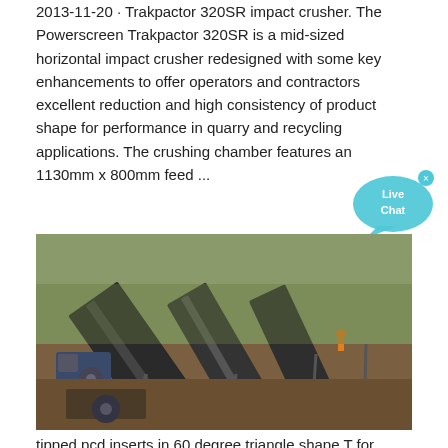2013-11-20 · Trakpactor 320SR impact crusher. The Powerscreen Trakpactor 320SR is a mid-sized horizontal impact crusher redesigned with some key enhancements to offer operators and contractors excellent reduction and high consistency of product shape for performance in quarry and recycling applications. The crushing chamber features an 1130mm x 800mm feed ...
[Figure (other): Live Chat speech bubble icon in teal/cyan color with 'x' close button]
[Figure (photo): Aerial/elevated view of industrial conveyor belts and machinery at a quarry or mining site, showing large metal conveyor structures, equipment, and earthworks.]
tipped pcd inserts in 60 degree triangle shape T for ...